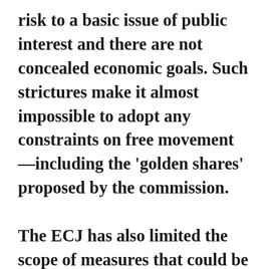risk to a basic issue of public interest and there are not concealed economic goals. Such strictures make it almost impossible to adopt any constraints on free movement —including the 'golden shares' proposed by the commission.

The ECJ has also limited the scope of measures that could be exempted by public-interest considerations to